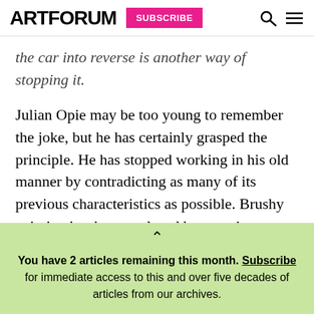ARTFORUM SUBSCRIBE
the car into reverse is another way of stopping it.
Julian Opie may be too young to remember the joke, but he has certainly grasped the principle. He has stopped working in his old manner by contradicting as many of its previous characteristics as possible. Brushy painting has been replaced by spraying, primary colors have mutated into cosmeticized variants, and jokes about flatness have been replaced by a foray into three-dimensionality, with each
You have 2 articles remaining this month. Subscribe for immediate access to this and over five decades of articles from our archives.